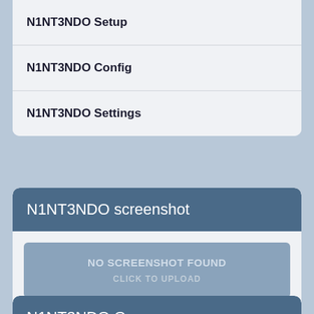N1NT3NDO Setup
N1NT3NDO Config
N1NT3NDO Settings
N1NT3NDO screenshot
[Figure (screenshot): Upload placeholder box with text 'NO SCREENSHOT FOUND' and 'CLICK TO UPLOAD']
N1NT3NDO Gear
Mouse